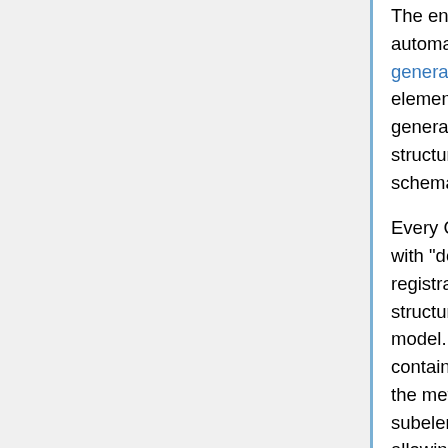The entire object model class hierarchy is automatically generated by Sony using a code generator that translates the COLLADA schema element definitions into C++ classes. Code generation of the COLLADA Object Model structures guarantees consistency with the schema and accuracy of the code.
Every COLLADA object model class is prefixed with "dom". The code generation builds in registration of meta-information about the structure of each element in the COLLADA object model. Via the static method registerElement() contained in every COLLADA object model class, the metadata about an element and its subelements are registered with the ROS, allowing it to understand, track, and manage each COLLADA DOM object.